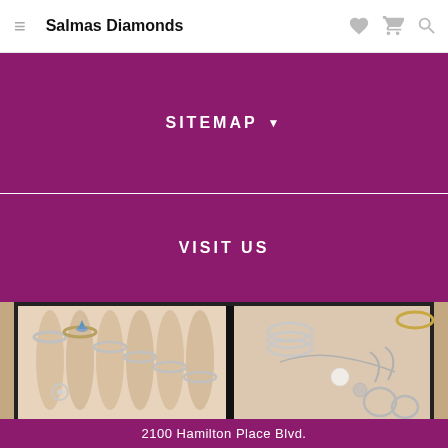Salmas Diamonds
SITEMAP
VISIT US
[Figure (photo): Jewelry box open with rings on display rolls on the left and assorted silver jewelry, pearls, and earrings on the right, against a pink velvet interior]
2100 Hamilton Place Blvd.